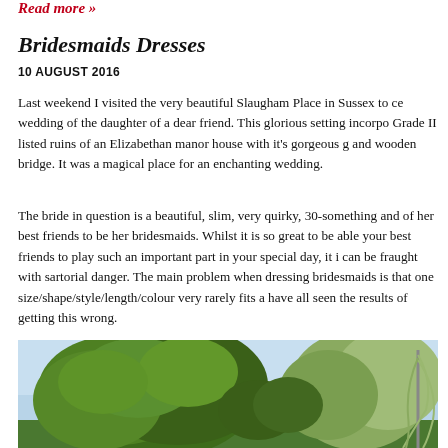Read more »
Bridesmaids Dresses
10 AUGUST 2016
Last weekend I visited the very beautiful Slaugham Place in Sussex to ce wedding of the daughter of a dear friend. This glorious setting incorpo Grade II listed ruins of an Elizabethan manor house with it's gorgeous g and wooden bridge. It was a magical place for an enchanting wedding.
The bride in question is a beautiful, slim, very quirky, 30-something and of her best friends to be her bridesmaids. Whilst it is so great to be able your best friends to play such an important part in your special day, it i can be fraught with sartorial danger. The main problem when dressing bridesmaids is that one size/shape/style/length/colour very rarely fits a have all seen the results of getting this wrong.
[Figure (photo): Outdoor photo showing large green trees with leafy canopy against a light blue sky, with what appears to be a weeping willow or similar tree visible on the right side.]